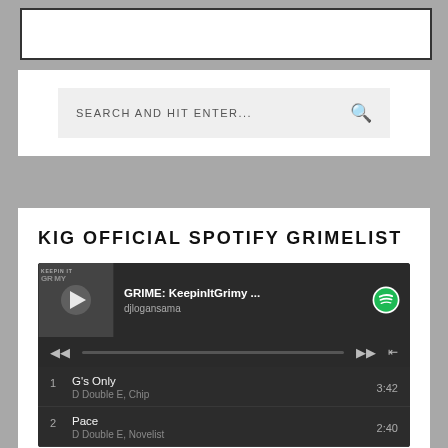[Figure (screenshot): Top border box - white rectangle with dark border at top of page]
[Figure (screenshot): Search bar panel with 'SEARCH AND HIT ENTER...' placeholder text and magnifying glass icon on light grey background]
KIG OFFICIAL SPOTIFY GRIMELIST
[Figure (screenshot): Spotify embedded player showing 'GRIME: KeepinItGrimy ...' playlist by djlogansama with album art, playback controls, and track list. Track 1: G's Only by D Double E, Chip - 3:42. Track 2: Pace by D Double E, Novelist - 2:40.]